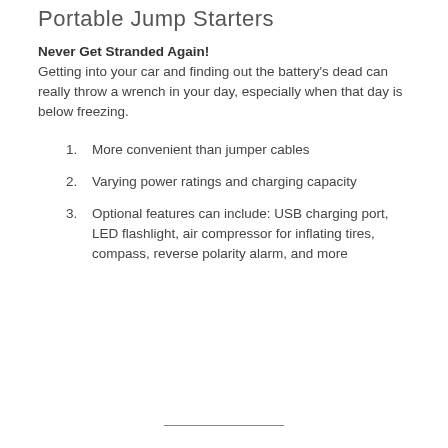Portable Jump Starters
Never Get Stranded Again! Getting into your car and finding out the battery's dead can really throw a wrench in your day, especially when that day is below freezing.
More convenient than jumper cables
Varying power ratings and charging capacity
Optional features can include: USB charging port, LED flashlight, air compressor for inflating tires, compass, reverse polarity alarm, and more